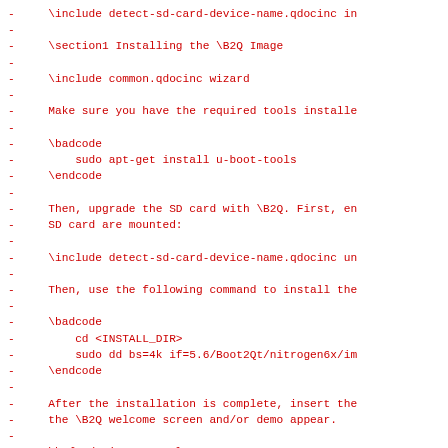-     \include detect-sd-card-device-name.qdocinc in
-
-     \section1 Installing the \B2Q Image
-
-     \include common.qdocinc wizard
-
-     Make sure you have the required tools installe
-
-     \badcode
-         sudo apt-get install u-boot-tools
-     \endcode
-
-     Then, upgrade the SD card with \B2Q. First, en
-     SD card are mounted:
-
-     \include detect-sd-card-device-name.qdocinc un
-
-     Then, use the following command to install the
-
-     \badcode
-         cd <INSTALL_DIR>
-         sudo dd bs=4k if=5.6/Boot2Qt/nitrogen6x/im
-     \endcode
-
-     After the installation is complete, insert the
-     the \B2Q welcome screen and/or demo appear.
-
-     \b {Updating U-Boot}
-
-     If you are updating from an older image, you